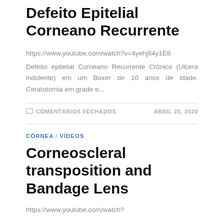Defeito Epitelial Corneano Recurrente
https://www.youtube.com/watch?v=4yehj84y1E8
Defeito epitelial Corneano Recurrente Crônico (Ulcera indolente) em um Boxer de 10 anos de idade. Ceratotomia em grade e...
COMENTÁRIOS FECHADOS   ABRIL 20, 2020
CÓRNEA / VÍDEOS
Corneoscleral transposition and Bandage Lens
https://www.youtube.com/watch?